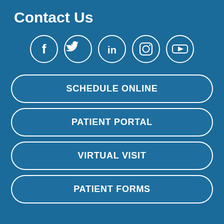Contact Us
[Figure (illustration): Five social media icon circles in a row: Facebook (f), Twitter (bird), LinkedIn (in), Instagram (camera), YouTube (play button) — all white outlines on blue background]
SCHEDULE ONLINE
PATIENT PORTAL
VIRTUAL VISIT
PATIENT FORMS